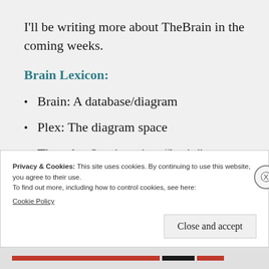I'll be writing more about TheBrain in the coming weeks.
Brain Lexicon:
Brain: A database/diagram
Plex: The diagram space
Thought: One item in a “brain”
Privacy & Cookies: This site uses cookies. By continuing to use this website, you agree to their use.
To find out more, including how to control cookies, see here:
Cookie Policy
Close and accept